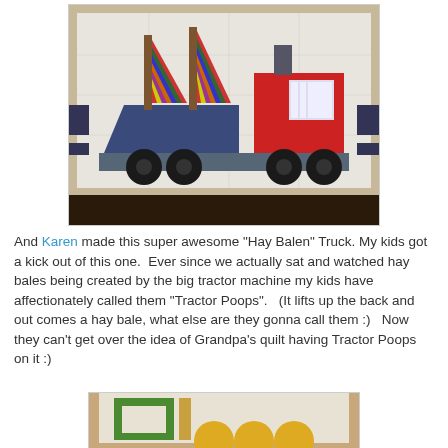[Figure (photo): A quilt block depicting a hay baler truck with two sailboat masts made of colorful striped fabric triangles on a navy blue hull, and a red cab/engine section, all sitting on a gray flatbed with black wheels.]
And Karen made this super awesome  "Hay Balen" Truck.  My kids got a kick out of this one.   Ever since we actually sat and watched hay bales being created by the big tractor machine my kids have affectionately called them "Tractor Poops".   (It lifts up the back and out comes a hay bale, what else are they gonna call them :)   Now they can't get over the idea of Grandpa's quilt having Tractor Poops on it :)
[Figure (photo): Bottom portion of a quilt block showing a green square frame on a light background with orange/yellow circular shapes (hay bale circles) at the bottom.]